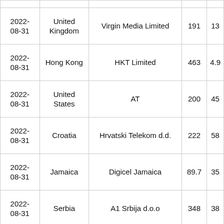| Date | Country | Operator | N1 | N2 |
| --- | --- | --- | --- | --- |
| 2022-08-31 | United Kingdom | Virgin Media Limited | 191 | 13… |
| 2022-08-31 | Hong Kong | HKT Limited | 463 | 4.9… |
| 2022-08-31 | United States | AT | 200 | 45… |
| 2022-08-31 | Croatia | Hrvatski Telekom d.d. | 222 | 58… |
| 2022-08-31 | Jamaica | Digicel Jamaica | 89.7 | 35… |
| 2022-08-31 | Serbia | A1 Srbija d.o.o | 348 | 38… |
| 2022-… |  | Turk Telokomuniksyon… |  |  |